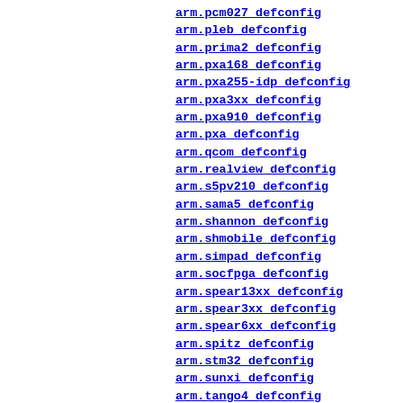arm.pcm027_defconfig
arm.pleb_defconfig
arm.prima2_defconfig
arm.pxa168_defconfig
arm.pxa255-idp_defconfig
arm.pxa3xx_defconfig
arm.pxa910_defconfig
arm.pxa_defconfig
arm.qcom_defconfig
arm.realview_defconfig
arm.s5pv210_defconfig
arm.sama5_defconfig
arm.shannon_defconfig
arm.shmobile_defconfig
arm.simpad_defconfig
arm.socfpga_defconfig
arm.spear13xx_defconfig
arm.spear3xx_defconfig
arm.spear6xx_defconfig
arm.spitz_defconfig
arm.stm32_defconfig
arm.sunxi_defconfig
arm.tango4_defconfig
arm.tct_hammer_defconfig
arm.tegra_defconfig
arm.tinyconfig
arm.trizeps4_defconfig
arm.u300_defconfig
arm.u8500_defconfig
arm.versatile_defconfig